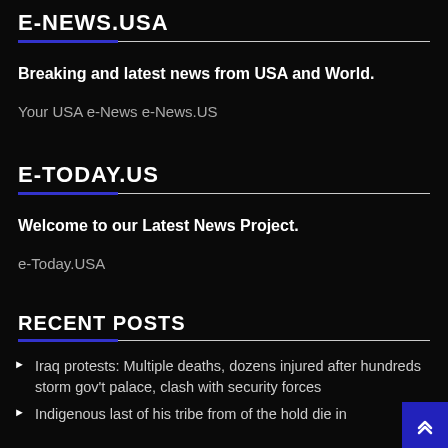E-NEWS.USA
Breaking and latest news from USA and World.
Your USA e-News e-News.US
E-TODAY.US
Welcome to our Latest News Project.
e-Today.USA
RECENT POSTS
Iraq protests: Multiple deaths, dozens injured after hundreds storm gov't palace, clash with security forces
Indigenous last of his tribe from of the hold die in